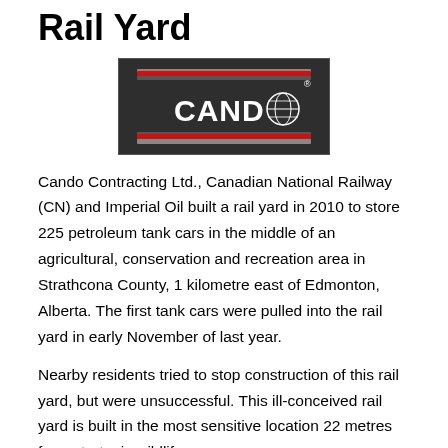Rail Yard
[Figure (logo): CANDO logo — white text 'CANDO' with a globe icon on a dark/black background, flanked by red and silver horizontal bars above and below.]
Cando Contracting Ltd., Canadian National Railway (CN) and Imperial Oil built a rail yard in 2010 to store 225 petroleum tank cars in the middle of an agricultural, conservation and recreation area in Strathcona County, 1 kilometre east of Edmonton, Alberta. The first tank cars were pulled into the rail yard in early November of last year.
Nearby residents tried to stop construction of this rail yard, but were unsuccessful. This ill-conceived rail yard is built in the most sensitive location 22 metres from strategic wildlife